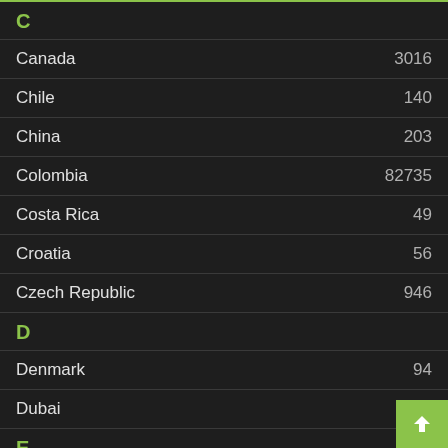C
Canada 3016
Chile 140
China 203
Colombia 82735
Costa Rica 49
Croatia 56
Czech Republic 946
D
Denmark 94
Dubai 34
E
Ecuador 42
Egypt 16
Estonia